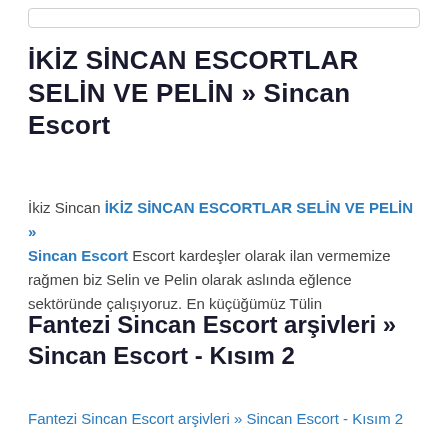İKİZ SİNCAN ESCORTLAR SELİN VE PELİN » Sincan Escort
İkiz Sincan İKİZ SİNCAN ESCORTLAR SELİN VE PELİN » Sincan Escort Escort kardeşler olarak ilan vermemize rağmen biz Selin ve Pelin olarak aslında eğlence sektöründe çalışıyoruz. En küçüğümüz Tülin
Fantezi Sincan Escort arşivleri » Sincan Escort - Kısım 2
Fantezi Sincan Escort arşivleri » Sincan Escort - Kısım 2